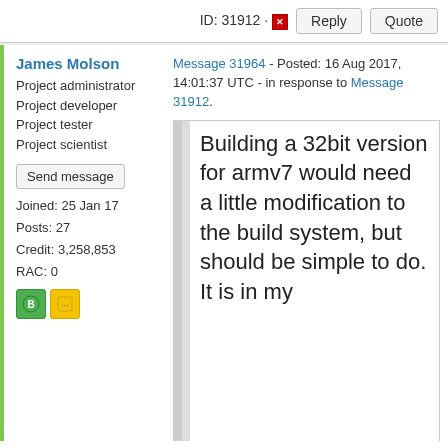ID: 31912
Reply
Quote
James Molson
Project administrator
Project developer
Project tester
Project scientist
Send message
Joined: 25 Jan 17
Posts: 27
Credit: 3,258,853
RAC: 0
Message 31964 - Posted: 16 Aug 2017, 14:01:37 UTC - in response to Message 31912.
Building a 32bit version for armv7 would need a little modification to the build system, but should be simple to do. It is in my